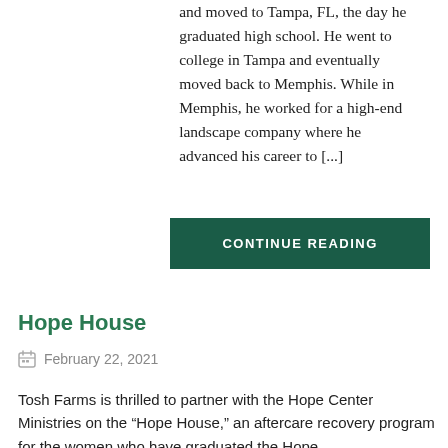and moved to Tampa, FL, the day he graduated high school. He went to college in Tampa and eventually moved back to Memphis. While in Memphis, he worked for a high-end landscape company where he advanced his career to [...]
CONTINUE READING
Hope House
February 22, 2021
Tosh Farms is thrilled to partner with the Hope Center Ministries on the “Hope House,” an aftercare recovery program for the women who have graduated the Hope